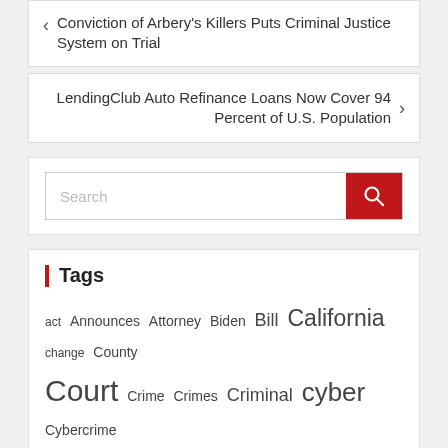< Conviction of Arbery's Killers Puts Criminal Justice System on Trial
LendingClub Auto Refinance Loans Now Cover 94 Percent of U.S. Population >
[Figure (screenshot): Search bar with red search button]
Tags
act Announces Attorney Biden Bill California change County Court Crime Crimes Criminal cyber Cybercrime Cybersecurity Employment Enforcement Estate family finance Firm Justice labor law laws